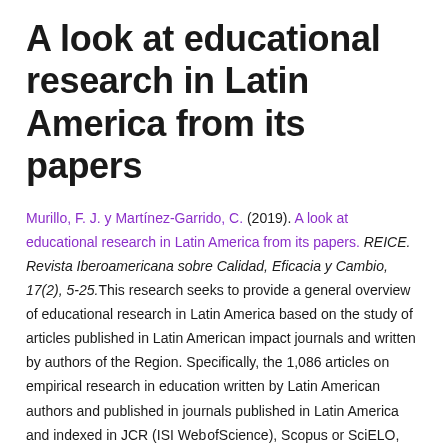A look at educational research in Latin America from its papers
Murillo, F. J. y Martínez-Garrido, C. (2019). A look at educational research in Latin America from its papers. REICE. Revista Iberoamericana sobre Calidad, Eficacia y Cambio, 17(2), 5-25.This research seeks to provide a general overview of educational research in Latin America based on the study of articles published in Latin American impact journals and written by authors of the Region. Specifically, the 1,086 articles on empirical research in education written by Latin American authors and published in journals published in Latin America and indexed in JCR (ISI Web ofScience), Scopus or SciELO,